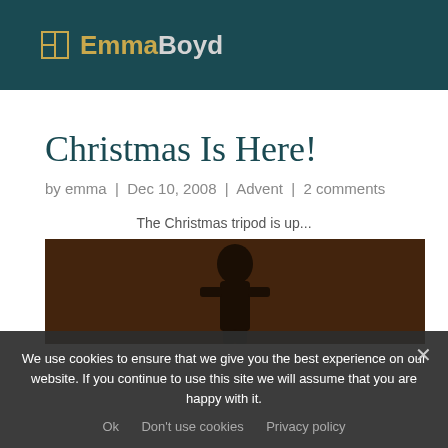EB EmmaBoyd
Christmas Is Here!
by emma | Dec 10, 2008 | Advent | 2 comments
The Christmas tripod is up...
[Figure (photo): Dark photo showing a silhouette of a person against a warm orange-brown background]
We use cookies to ensure that we give you the best experience on our website. If you continue to use this site we will assume that you are happy with it.
Ok   Don't use cookies   Privacy policy